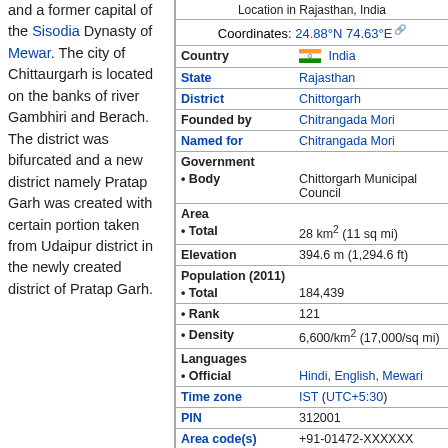and a former capital of the Sisodia Dynasty of Mewar. The city of Chittaurgarh is located on the banks of river Gambhiri and Berach. The district was bifurcated and a new district namely Pratap Garh was created with certain portion taken from Udaipur district in the newly created district of Pratap Garh.
| Field | Value |
| --- | --- |
| Location in Rajasthan, India |  |
| Coordinates | 24.88°N 74.63°E |
| Country | India |
| State | Rajasthan |
| District | Chittorgarh |
| Founded by | Chitrangada Mori |
| Named for | Chitrangada Mori |
| Government |  |
| • Body | Chittorgarh Municipal Council |
| Area |  |
| • Total | 28 km² (11 sq mi) |
| Elevation | 394.6 m (1,294.6 ft) |
| Population (2011) |  |
| • Total | 184,439 |
| • Rank | 121 |
| • Density | 6,600/km² (17,000/sq mi) |
| Languages |  |
| • Official | Hindi, English, Mewari |
| Time zone | IST (UTC+5:30) |
| PIN | 312001 |
| Area code(s) | +91-01472-XXXXXX |